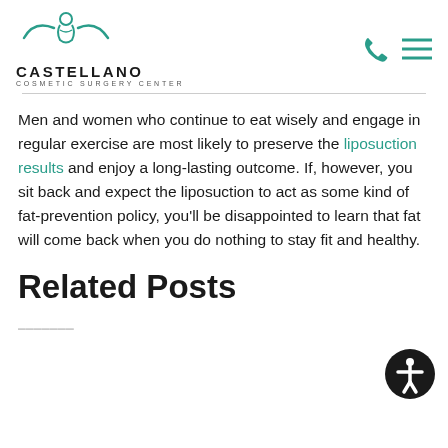[Figure (logo): Castellano Cosmetic Surgery Center logo with teal decorative swoosh and figure icon above text]
Men and women who continue to eat wisely and engage in regular exercise are most likely to preserve the liposuction results and enjoy a long-lasting outcome. If, however, you sit back and expect the liposuction to act as some kind of fat-prevention policy, you'll be disappointed to learn that fat will come back when you do nothing to stay fit and healthy.
Related Posts